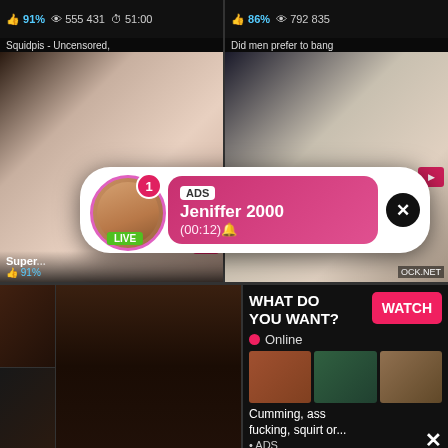[Figure (screenshot): Adult video thumbnail grid with two rows, overlay popup ads, and metadata bars showing video titles, like percentages, view counts, and durations.]
Squidpis - Uncensored, 91% 555 431 51:00
Did men prefer to bang 86% 792 835
Super... 91%
ADS Jeniffer 2000 (00:12)🔔
LIVE
Monster Facial For Skinny 99% 177 185 4:00
Cute Japanese Teen 90% 347 077
WHAT DO YOU WANT? WATCH
● Online
Cumming, ass fucking, squirt or... • ADS